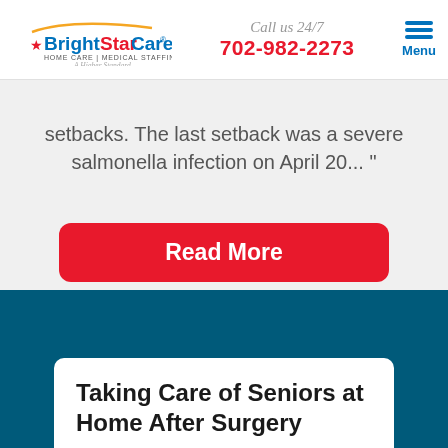BrightStar Care HOME CARE | MEDICAL STAFFING A Higher Standard | Call us 24/7 702-982-2273 | Menu
setbacks.  The last setback was a severe salmonella infection on April 20... "
Read More
Taking Care of Seniors at Home After Surgery